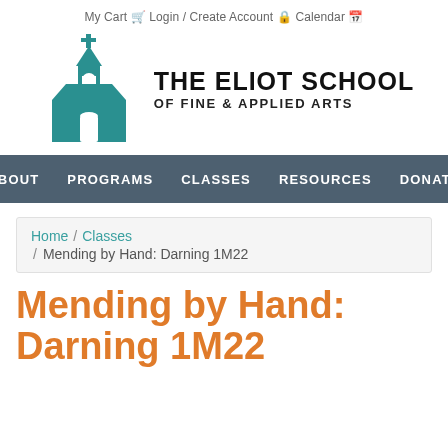My Cart  Login / Create Account  Calendar
[Figure (logo): The Eliot School of Fine & Applied Arts logo — teal schoolhouse building with cross on top, beside bold black text THE ELIOT SCHOOL / OF FINE & APPLIED ARTS]
ABOUT  PROGRAMS  CLASSES  RESOURCES  DONATE
Home / Classes / Mending by Hand: Darning 1M22
Mending by Hand: Darning 1M22